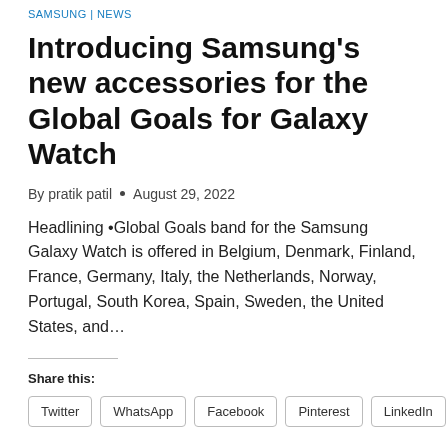SAMSUNG | NEWS
Introducing Samsung's new accessories for the Global Goals for Galaxy Watch
By pratik patil • August 29, 2022
Headlining •Global Goals band for the Samsung Galaxy Watch is offered in Belgium, Denmark, Finland, France, Germany, Italy, the Netherlands, Norway, Portugal, South Korea, Spain, Sweden, the United States, and…
Share this:
Twitter
WhatsApp
Facebook
Pinterest
LinkedIn